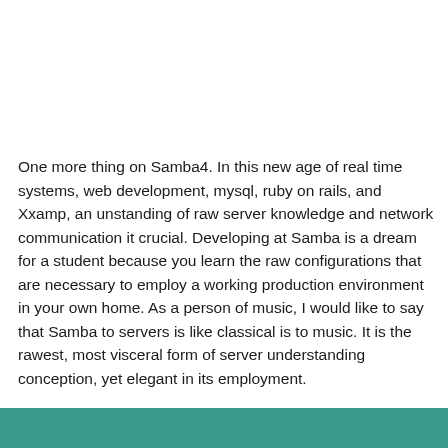One more thing on Samba4. In this new age of real time systems, web development, mysql, ruby on rails, and Xxamp, an unstanding of raw server knowledge and network communication it crucial. Developing at Samba is a dream for a student because you learn the raw configurations that are necessary to employ a working production environment in your own home. As a person of music, I would like to say that Samba to servers is like classical is to music. It is the rawest, most visceral form of server understanding conception, yet elegant in its employment.
This page was last edited on 21 September 2013, at 17:00